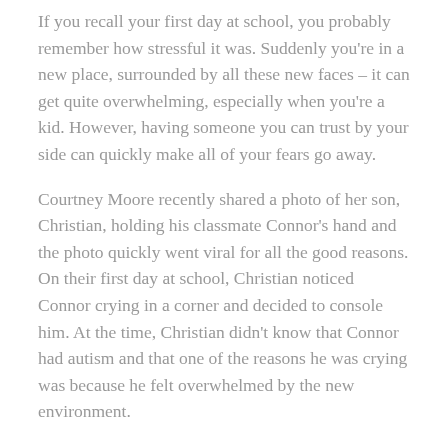If you recall your first day at school, you probably remember how stressful it was. Suddenly you're in a new place, surrounded by all these new faces – it can get quite overwhelming, especially when you're a kid. However, having someone you can trust by your side can quickly make all of your fears go away.
Courtney Moore recently shared a photo of her son, Christian, holding his classmate Connor's hand and the photo quickly went viral for all the good reasons. On their first day at school, Christian noticed Connor crying in a corner and decided to console him. At the time, Christian didn't know that Connor had autism and that one of the reasons he was crying was because he felt overwhelmed by the new environment.